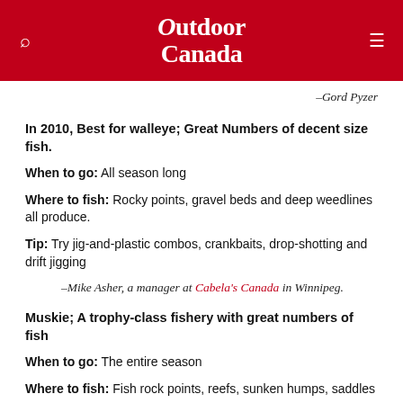Outdoor Canada
—Gord Pyzer
In 2010, Best for walleye; Great Numbers of decent size fish.
When to go: All season long
Where to fish: Rocky points, gravel beds and deep weedlines all produce.
Tip: Try jig-and-plastic combos, crankbaits, drop-shotting and drift jigging
—Mike Asher, a manager at Cabela's Canada in Winnipeg.
Muskie; A trophy-class fishery with great numbers of fish
When to go: The entire season
Where to fish: Fish rock points, reefs, sunken humps, saddles